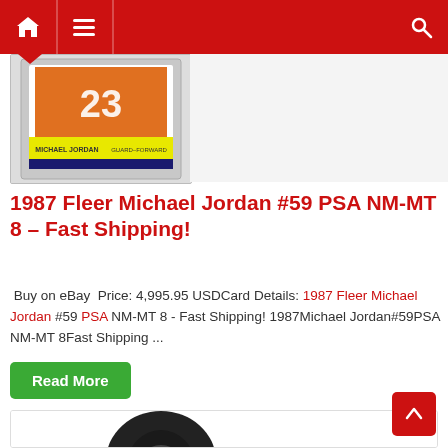Navigation bar with home, menu, and search icons
[Figure (photo): 1987 Fleer Michael Jordan basketball card #23 in PSA case, showing Jordan in orange uniform with MICHAEL JORDAN GUARD-FORWARD text]
1987 Fleer Michael Jordan #59 PSA NM-MT 8 – Fast Shipping!
Buy on eBay  Price: 4,995.95 USD Card Details: 1987 Fleer Michael Jordan #59 PSA NM-MT 8 - Fast Shipping! 1987Michael Jordan#59PSA NM-MT 8Fast Shipping ...
Read More
[Figure (photo): Black hoodie/sweatshirt photographed against white background, partial view showing hood and upper portion]